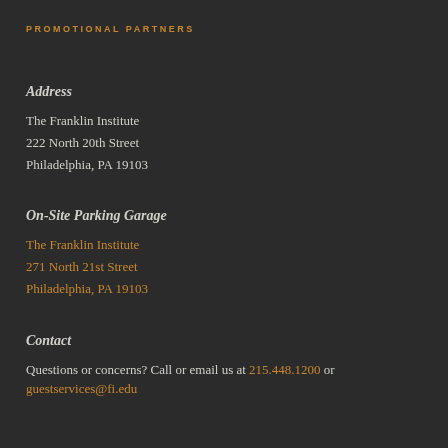PROMOTIONAL PARTNERS
Address
The Franklin Institute
222 North 20th Street
Philadelphia, PA 19103
On-Site Parking Garage
The Franklin Institute
271 North 21st Street
Philadelphia, PA 19103
Contact
Questions or concerns? Call or email us at 215.448.1200 or guestservices@fi.edu